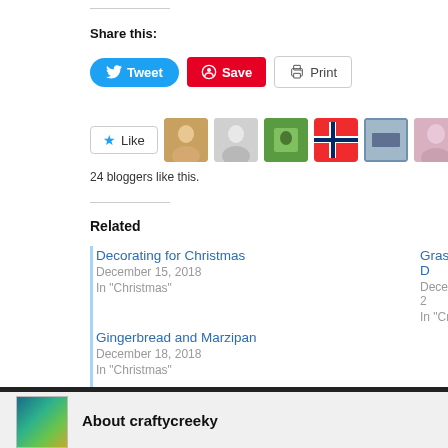Share this:
[Figure (screenshot): Tweet, Save, and Print buttons row]
[Figure (screenshot): Like button with 11 blogger avatar thumbnails]
24 bloggers like this.
Related
Decorating for Christmas
December 15, 2018
In "Christmas"
Grassington D
December 1, 2
In "Crafts"
Gingerbread and Marzipan
December 18, 2018
In "Christmas"
About craftycreeky